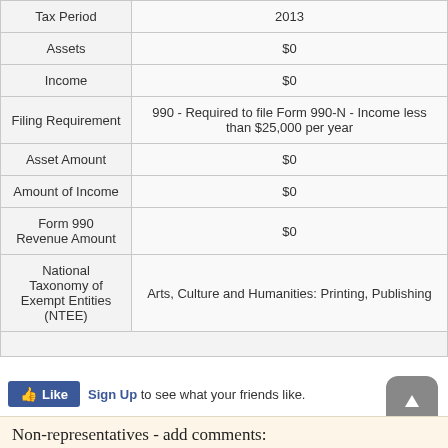| Field | Value |
| --- | --- |
| Tax Period | 2013 |
| Assets | $0 |
| Income | $0 |
| Filing Requirement | 990 - Required to file Form 990-N - Income less than $25,000 per year |
| Asset Amount | $0 |
| Amount of Income | $0 |
| Form 990 Revenue Amount | $0 |
| National Taxonomy of Exempt Entities (NTEE) | Arts, Culture and Humanities: Printing, Publishing |
Sign Up to see what your friends like.
Non-representatives - add comments: